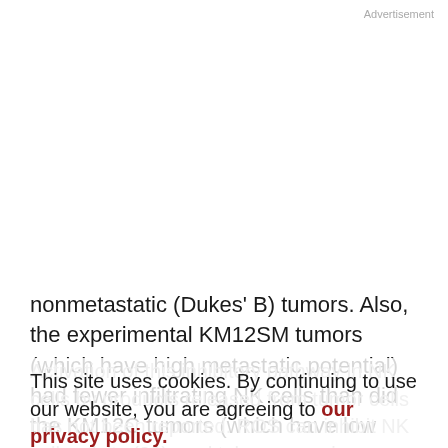Advertisement
nonmetastatic (Dukes' B) tumors. Also, the experimental KM12SM tumors (which have high metastatic potential) had fewer infiltrating NK cells than did the KM12C tumors (which have low metastatic potential). Collectively, these findings suggest that cancer cells may possess a mechanism to combat NK cells. NK cells express surface receptors that transduce intracellular signals through SHP-1 activation and inhibit cellular function (24, 25, 26, 27).
Activation of this inhibitory pathway in NK cells by products released from tumor cells has not been reported. ROS can inhibit NK cell activity (28), and tobacco carcinogens suppress NK cell activity through ROS
This site uses cookies. By continuing to use our website, you are agreeing to our privacy policy.
Accept